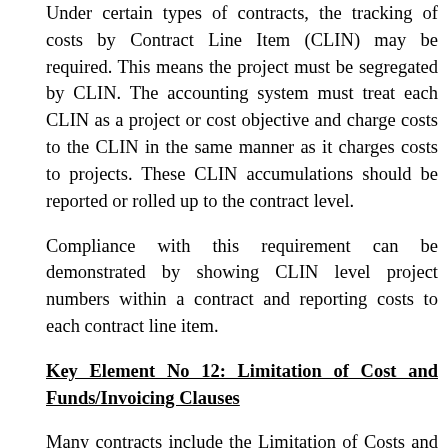Under certain types of contracts, the tracking of costs by Contract Line Item (CLIN) may be required. This means the project must be segregated by CLIN. The accounting system must treat each CLIN as a project or cost objective and charge costs to the CLIN in the same manner as it charges costs to projects. These CLIN accumulations should be reported or rolled up to the contract level.
Compliance with this requirement can be demonstrated by showing CLIN level project numbers within a contract and reporting costs to each contract line item.
Key Element No 12: Limitation of Cost and Funds/Invoicing Clauses
Many contracts include the Limitation of Costs and Funds clauses. These clauses require the contractor to track funding and contract cost. Contractors are required to notify the contracting officer when the contract costs reach 85% of